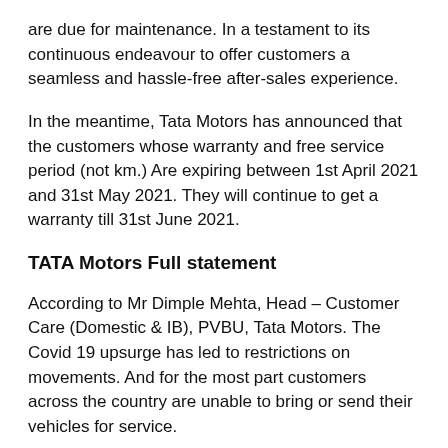are due for maintenance. In a testament to its continuous endeavour to offer customers a seamless and hassle-free after-sales experience.
In the meantime, Tata Motors has announced that the customers whose warranty and free service period (not km.) Are expiring between 1st April 2021 and 31st May 2021. They will continue to get a warranty till 31st June 2021.
TATA Motors Full statement
According to Mr Dimple Mehta, Head – Customer Care (Domestic & IB), PVBU, Tata Motors. The Covid 19 upsurge has led to restrictions on movements. And for the most part customers across the country are unable to bring or send their vehicles for service.
Keeping this in mind, we are offering customers the